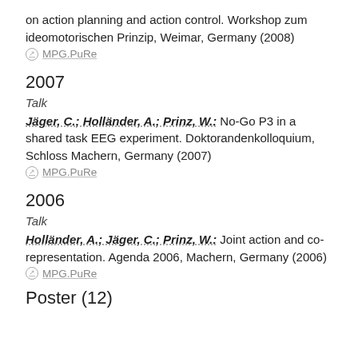on action planning and action control. Workshop zum ideomotorischen Prinzip, Weimar, Germany (2008)
⊙ MPG.PuRe
2007
Talk
Jäger, C.; Holländer, A.; Prinz, W.: No-Go P3 in a shared task EEG experiment. Doktorandenkolloquium, Schloss Machern, Germany (2007)
⊙ MPG.PuRe
2006
Talk
Holländer, A.; Jäger, C.; Prinz, W.: Joint action and co-representation. Agenda 2006, Machern, Germany (2006)
⊙ MPG.PuRe
Poster (12)